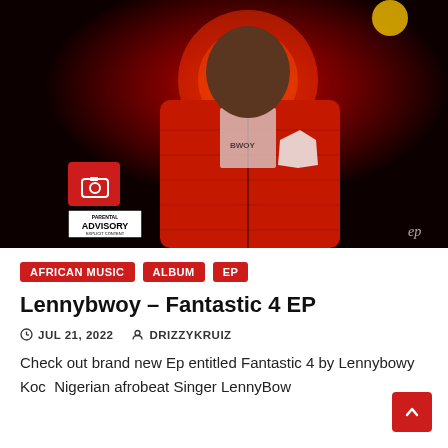[Figure (photo): Album art for Lennybwoy Fantastic 4 EP — young man in red quilted jacket against dark red background with halo-like glow, Parental Advisory label and camera icon overlay, 'ep' watermark bottom right]
AFRICAN MUSIC
ALBUM
EP
Lennybwoy – Fantastic 4 EP
JUL 21, 2022   DRIZZYKRUIZ
Check out brand new Ep entitled Fantastic 4 by Lennybowy Koc  Nigerian afrobeat Singer LennyBow